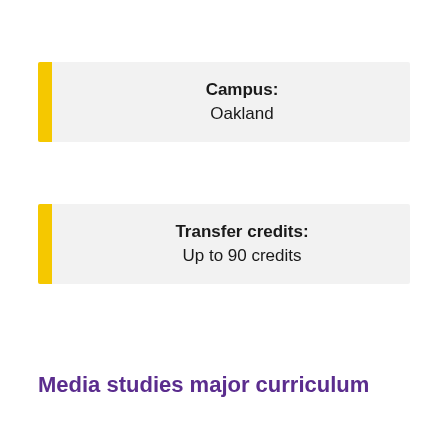Campus: Oakland
Transfer credits: Up to 90 credits
Media studies major curriculum